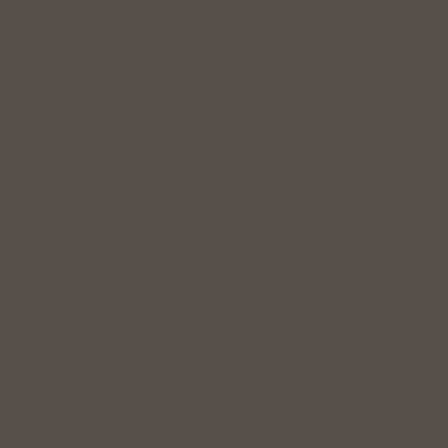[Figure (other): Gray/dark brownish-gray rectangular panel occupying the left ~60% of the page]
AM-17 ( AM17 ) Service Manual AK
AM-2200 ( AM2200 ) Service Manu
AM-2250 ( AM2250 ) Circuit Diagra
AM-2350 ( AM2350 ) Service Manu
AM-2400 ( AM2400 ) Circuit Diagra
AM-25 ( AM25 ) Service Manual AK
AM-27 ( AM27 ) Service Manual AK
AM-2800 ( AM2800 ) Service Manu
AM-2950 ( AM2950 ) Service Manu
AM-2950 ( AM2950 ) Owner's Man
AM-32 ( AM32 ) Owner's Manual AK
AM-32 ( AM32 ) Service Manual AK
AM-37 ( AM37 ) Owner's Manual A
AM-4000DPL ( AM4000DPL ) Own
AM-47 ( AM47 ) Owner's Manual A
AM-52 ( AM52 ) Owner's Manual A
AM-52 ( AM52 ) Service Manual AK
AM-57 ( AM57 ) Owner's Manual A
AM-59 ( AM59 ) Owner's Manual A
AM-67 ( AM67 ) Owner's Manual A
AM-69 ( AM69 ) Owner's Manual A
AM-73 ( AM73 ) Service Manual AK
AM-73 ( AM73 ) Owner's Manual A
AM-75 ( AM75 ) Owner's Manual A
AM-93 ( AM93 ) Service Manual AK
AM-93 ( AM93 ) Owner's Manual A
AM-95 ( AM95 ) Owner's Manual A
AM-A1 ( AMA1 ) Service Manual A
AM-A102 ( AMA102 ) Service Man
AM-A2 ( AMA2 ) Service Manual A
AM-A201 ( AMA201 ) Service Man
AM-A202 ( AMA202 ) Service Man
AM-A3 ( AMA3 ) Service Manual A
AM-A301 ( AMA301 ) Service Man
AM-A301 ( AMA301 ) Owner's Man
AM-A302 ( AMA302 ) Service Man
AM-A335 ( AMA335 ) Service
AM-A401 ( AMA401 ) Service Man